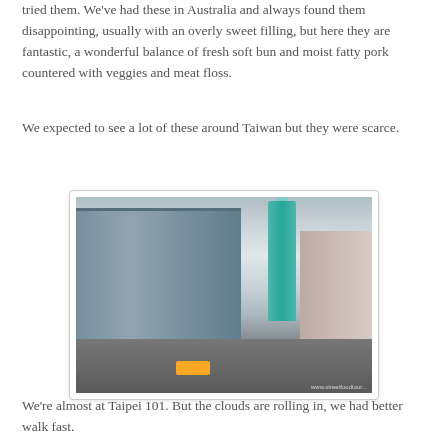tried them. We've had these in Australia and always found them disappointing, usually with an overly sweet filling, but here they are fantastic, a wonderful balance of fresh soft bun and moist fatty pork countered with veggies and meat floss.
We expected to see a lot of these around Taiwan but they were scarce.
[Figure (photo): Street-level photo of Taipei, Taiwan, showing dense mid-rise commercial buildings lining a wide boulevard, with Taipei 101 skyscraper visible in the background under overcast cloudy skies. A yellow taxi is visible on the road. Watermark partially visible in bottom right corner.]
We're almost at Taipei 101. But the clouds are rolling in, we had better walk fast.